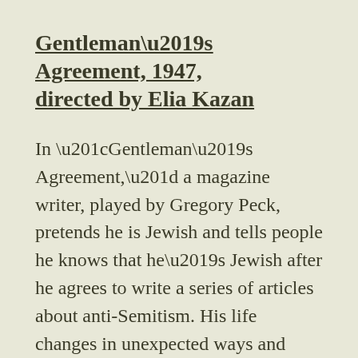Gentleman's Agreement, 1947, directed by Elia Kazan
In “Gentleman’s Agreement,” a magazine writer, played by Gregory Peck, pretends he is Jewish and tells people he knows that he’s Jewish after he agrees to write a series of articles about anti-Semitism. His life changes in unexpected ways and almost destroys several relationships.